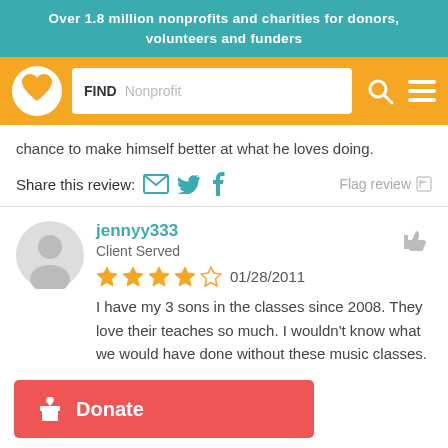Over 1.8 million nonprofits and charities for donors, volunteers and funders
[Figure (screenshot): Navigation bar with GuideStar/Candid logo (heart in circle), search box with FIND Nonprofit label, search icon, and hamburger menu icon on orange background]
chance to make himself better at what he loves doing.
Share this review: [email icon] [twitter icon] [facebook icon]    Flag review [flag icon]
jennyy333
Client Served
★★★★☆ 01/28/2011
I have my 3 sons in the classes since 2008. They love their teaches so much. I wouldn't know what we would have done without these music classes.
Donate